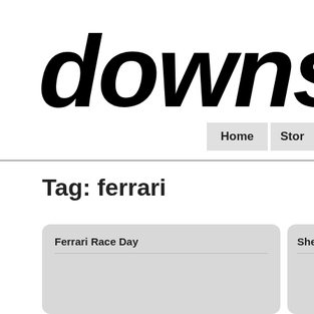downsh
Home | Stor
Tag: ferrari
Ferrari Race Day
Shell/Fer